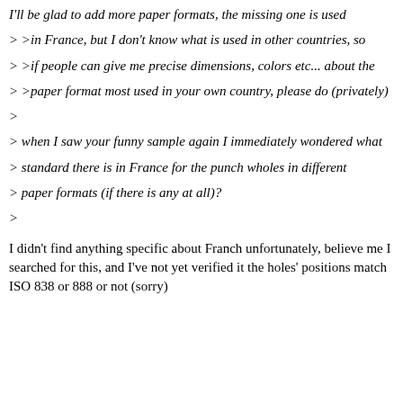I'll be glad to add more paper formats, the missing one is used
> >in France, but I don't know what is used in other countries, so
> >if people can give me precise dimensions, colors etc... about the
> >paper format most used in your own country, please do (privately)
>
> when I saw your funny sample again I immediately wondered what
> standard there is in France for the punch wholes in different
> paper formats (if there is any at all)?
>
I didn't find anything specific about Franch unfortunately, believe me I searched for this, and I've not yet verified it the holes' positions match ISO 838 or 888 or not (sorry)